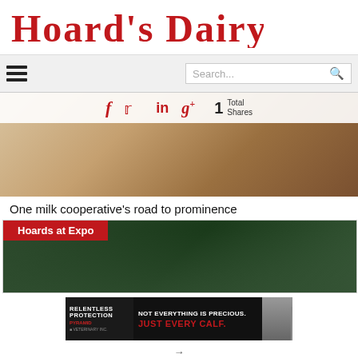[Figure (logo): Hoard's Dairyman magazine logo in red decorative serif font]
[Figure (screenshot): Navigation bar with hamburger menu icon on left and search box on right]
[Figure (photo): Hero image strip showing blurred close-up background]
[Figure (infographic): Social share bar with Facebook, Twitter, LinkedIn, Google+ icons, and '1 Total Shares' counter]
One milk cooperative’s road to prominence
[Figure (photo): Hoards at Expo promo card showing group family photo with red label overlay reading 'Hoards at Expo']
[Figure (photo): Advertisement banner: RELENTLESS PROTECTION - NOT EVERYTHING IS PRECIOUS. JUST EVERY CALF. PYRAMID]
[Figure (other): Scroll-up button (grey box with white upward arrow)]
→